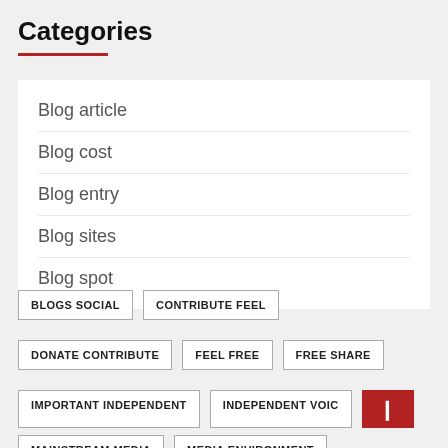Categories
Blog article
Blog cost
Blog entry
Blog sites
Blog spot
BLOGS SOCIAL
CONTRIBUTE FEEL
DONATE CONTRIBUTE
FEEL FREE
FREE SHARE
IMPORTANT INDEPENDENT
INDEPENDENT VOIC...
MAINSTREAM MEDIA
MEDIA ENVIRONMENT